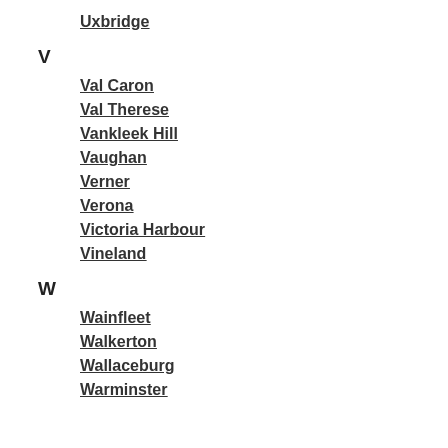Uxbridge
V
Val Caron
Val Therese
Vankleek Hill
Vaughan
Verner
Verona
Victoria Harbour
Vineland
W
Wainfleet
Walkerton
Wallaceburg
Warminster